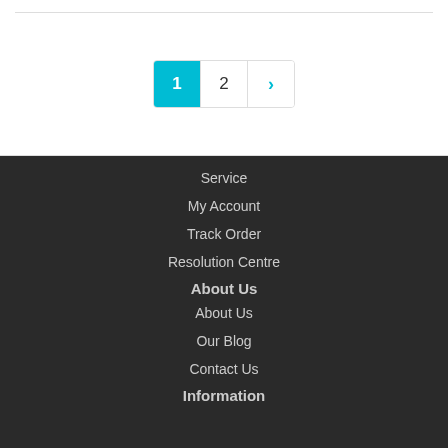[Figure (other): Pagination control with page 1 active (cyan background), page 2, and a next arrow button]
Service
My Account
Track Order
Resolution Centre
About Us
About Us
Our Blog
Contact Us
Information